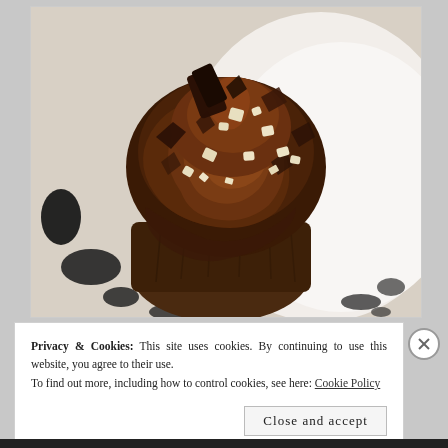[Figure (photo): Close-up photograph of a chocolate cupcake with dark chocolate frosting and chocolate shavings (both dark and white chocolate pieces) on top, placed on a white plate with black floral pattern.]
Privacy & Cookies: This site uses cookies. By continuing to use this website, you agree to their use.
To find out more, including how to control cookies, see here: Cookie Policy
Close and accept